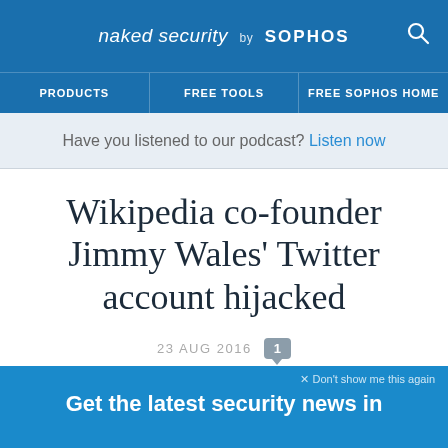naked security by SOPHOS
PRODUCTS | FREE TOOLS | FREE SOPHOS HOME
Have you listened to our podcast? Listen now
Wikipedia co-founder Jimmy Wales’ Twitter account hijacked
23 AUG 2016  [1 comment]
2-factor Authentication, Celebrities, Hacked, Twitter
× Don’t show me this again
Get the latest security news in